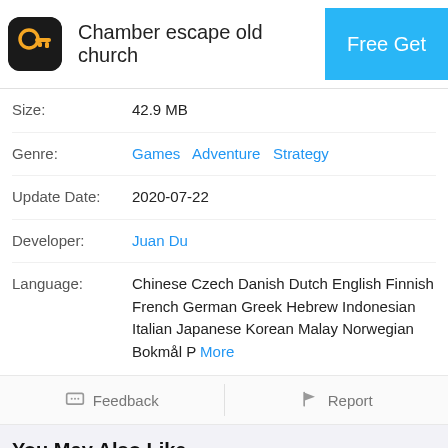Chamber escape old church
| Field | Value |
| --- | --- |
| Size: | 42.9 MB |
| Genre: | Games  Adventure  Strategy |
| Update Date: | 2020-07-22 |
| Developer: | Juan Du |
| Language: | Chinese Czech Danish Dutch English Finnish French German Greek Hebrew Indonesian Italian Japanese Korean Malay Norwegian Bokmål P  More |
Feedback  |  Report
You May Also Like
[Figure (screenshot): Row of recommended app icons: a king/warrior game, a colorful skull/creature game, Sigma Theory, a dragon game, and a partially visible game with share button overlay]